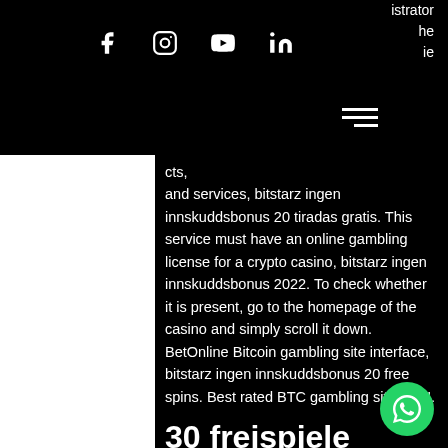istrator he ie
[Figure (infographic): Social media icons row: Facebook, Instagram, YouTube, LinkedIn]
[Figure (other): Hamburger menu icon (three horizontal lines)]
cts, and services, bitstarz ingen innskuddsbonus 20 tiradas gratis. This service must have an online gambling license for a crypto casino, bitstarz ingen innskuddsbonus 2022. To check whether it is present, go to the homepage of the casino and simply scroll it down. BetOnline Bitcoin gambling site interface, bitstarz ingen innskuddsbonus 20 free spins. Best rated BTC gambling site for U.
30 freispiele bitstarz, bitstarz аниме
The rise of CryptoKitties was the best illustration of gaming getting a boost from a crypto rally. It could be that Bitcoin holders find the same boost with a crypto casino in